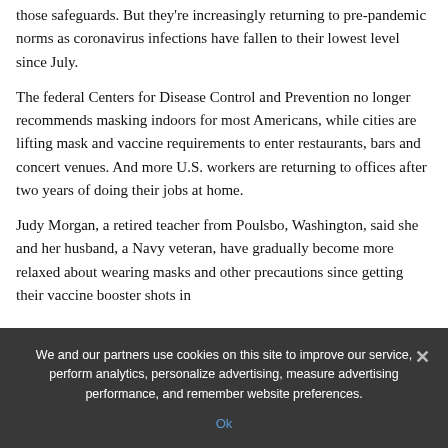those safeguards. But they're increasingly returning to pre-pandemic norms as coronavirus infections have fallen to their lowest level since July.
The federal Centers for Disease Control and Prevention no longer recommends masking indoors for most Americans, while cities are lifting mask and vaccine requirements to enter restaurants, bars and concert venues. And more U.S. workers are returning to offices after two years of doing their jobs at home.
Judy Morgan, a retired teacher from Poulsbo, Washington, said she and her husband, a Navy veteran, have gradually become more relaxed about wearing masks and other precautions since getting their vaccine booster shots in
We and our partners use cookies on this site to improve our service, perform analytics, personalize advertising, measure advertising performance, and remember website preferences.
Ok